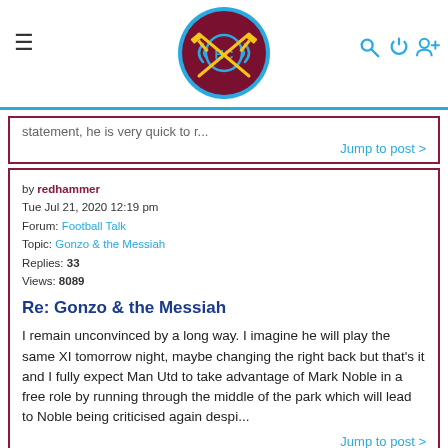Hammers Chat forum header with logo and navigation icons
statement, he is very quick to r...
Jump to post >
by redhammer
Tue Jul 21, 2020 12:19 pm
Forum: Football Talk
Topic: Gonzo & the Messiah
Replies: 33
Views: 8089
Re: Gonzo & the Messiah
I remain unconvinced by a long way. I imagine he will play the same XI tomorrow night, maybe changing the right back but that's it and I fully expect Man Utd to take advantage of Mark Noble in a free role by running through the middle of the park which will lead to Noble being criticised again despi...
Jump to post >
by redhammer
Sun Jun 28, 2020 9:02 pm
Forum: Football Talk
Topic: West Ham vs Chelsea Official Match Thread
Replies: 194
Views: 30228
Re: West Ham vs Chelsea Official Match Thread